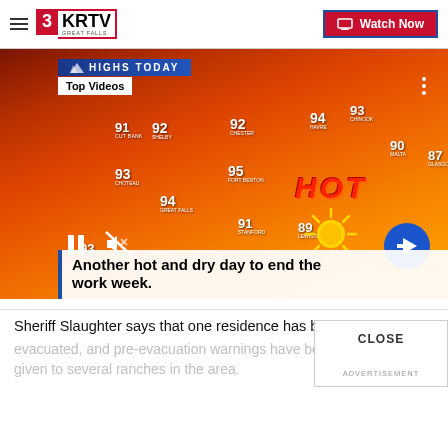3KRTV GREAT FALLS | Watch Now
[Figure (screenshot): Weather forecast video screenshot showing a temperature map of Montana with 'HIGHS TODAY' banner. Temperatures shown: 91 (Cut Bank), 92 (Shelby), 92 (Chester), 94 (Havre), 93 (Chinook), 90 (Malta), 87 (Glasgow), 93 (Choteau), 95 (Fort Benton), 94 (Great Falls), 91 (Stanford), 89 (Lewistown), 93 (bottom left). The word HOT appears in large red letters. A sun graphic and next-arrow button are visible. A 'Top Videos' badge overlays the top-left. The overlay caption reads 'Another hot and dry day to end the work week.']
Another hot and dry day to end the work week.
Sheriff Slaughter says that one residence has been evacuated, and pre-evacuation warnings have been given to several ranches in the area.